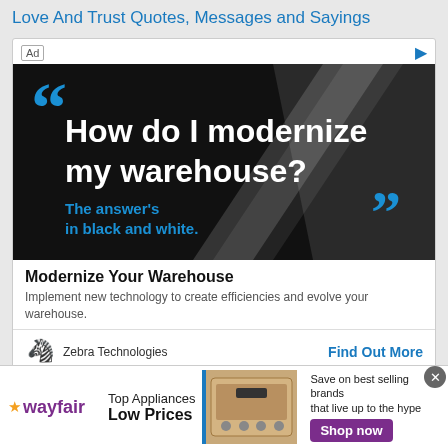Love And Trust Quotes, Messages and Sayings
[Figure (screenshot): Advertisement banner with black background showing quote text: "How do I modernize my warehouse?" with subtext "The answer's in black and white." Blue quotation marks, diagonal white slash design element.]
Modernize Your Warehouse
Implement new technology to create efficiencies and evolve your warehouse.
Zebra Technologies    Find Out More
[Figure (screenshot): Wayfair advertisement banner showing logo, 'Top Appliances Low Prices', image of a stove/range appliance, and 'Save on best selling brands that live up to the hype' with 'Shop now' purple button.]